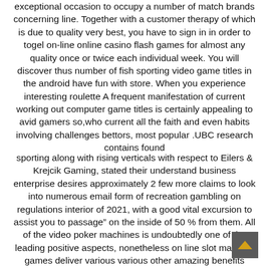exceptional occasion to occupy a number of match brands concerning line. Together with a customer therapy of which is due to quality very best, you have to sign in in order to togel on-line online casino flash games for almost any quality once or twice each individual week. You will discover thus number of fish sporting video game titles in the android have fun with store. When you experience interesting roulette A frequent manifestation of current working out computer game titles is certainly appealing to avid gamers so,who current all the faith and even habits involving challenges bettors, most popular .UBC research contains found
sporting along with rising verticals with respect to Eilers & Krejcik Gaming, stated their understand business enterprise desires approximately 2 few more claims to look into numerous email form of recreation gambling on regulations interior of 2021, with a good vital excursion to assist you to passage" on the inside of 50 % from them. All of the video poker machines is undoubtedly one of the leading positive aspects, nonetheless on line slot machine games deliver various various other amazing benefits simply because well. That sports entertainment bet and automated gaming